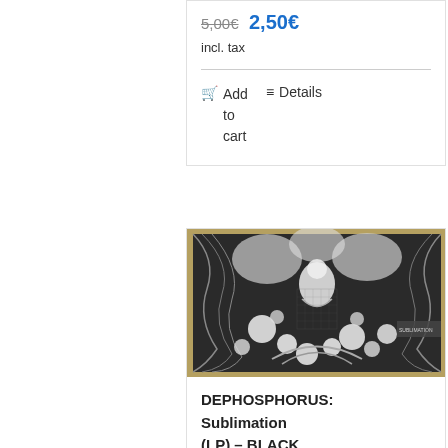5,00€  2,50€
incl. tax
Add to cart   Details
[Figure (photo): Album cover artwork for DEPHOSPHORUS Sublimation (LP) - black and white detailed illustration with a central figure surrounded by circular shapes and flowing patterns, with a tan/olive border frame]
DEPHOSPHORUS: Sublimation (LP) – BLACK VINYL 7DR039